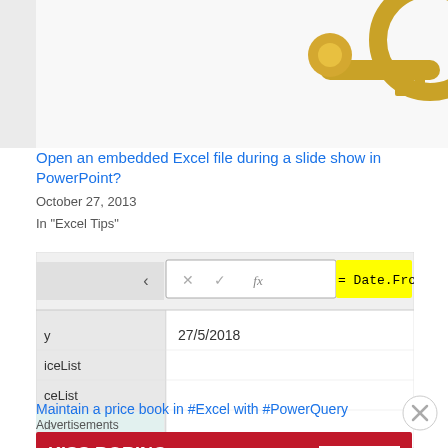[Figure (screenshot): Top portion of a webpage showing a golden key magnifying glass illustration and a popup dialog for sharing]
Open an embedded Excel file during a slide show in PowerPoint?
October 27, 2013
In "Excel Tips"
[Figure (screenshot): Excel Power Query screenshot showing formula bar with = Date.From(DateTime and cell value 27/5/2018, with row labels y, iceList, ceList, le]
Maintain a price book in #Excel with #PowerQuery
Advertisements
[Figure (photo): Macy's advertisement: KISS BORING LIPS GOODBYE with SHOP NOW button, woman with red lips, Macy's star logo]